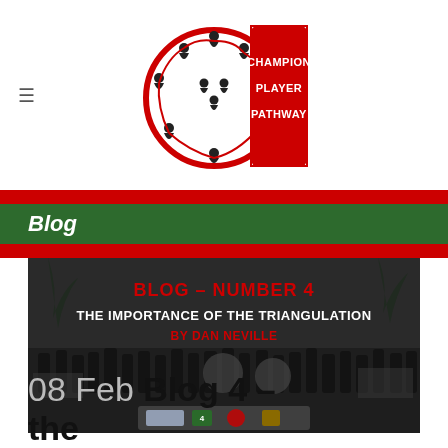Champion Player Pathway logo with hamburger menu
Blog
[Figure (photo): Black and white photograph of a large group of people at an outdoor sports facility with overlaid text reading 'BLOG – NUMBER 4 THE IMPORTANCE OF THE TRIANGULATION BY DAN NEVILLE' along with sponsor logos at the bottom.]
08 Feb Blog 4 – the